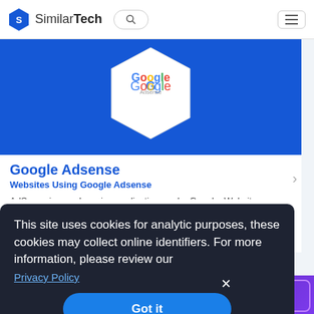SimilarTech
[Figure (screenshot): SimilarTech website screenshot showing Google Adsense page with blue banner, Google logo hexagon, title, subtitle, and description text]
Google Adsense
Websites Using Google Adsense
AdSense is an ad serving application run by Google. Website...nd, ...nes ...e ...ogle
This site uses cookies for analytic purposes, these cookies may collect online identifiers. For more information, please review our Privacy Policy
Got it